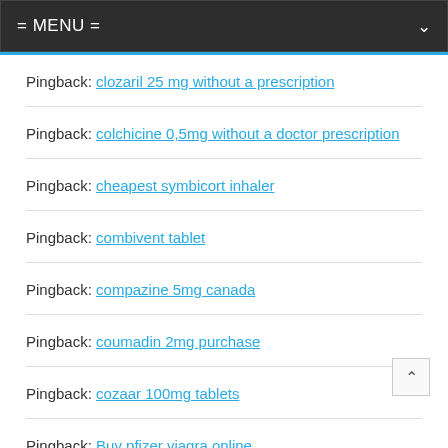= MENU =
Pingback: clozaril 25 mg without a prescription
Pingback: colchicine 0,5mg without a doctor prescription
Pingback: cheapest symbicort inhaler
Pingback: combivent tablet
Pingback: compazine 5mg canada
Pingback: coumadin 2mg purchase
Pingback: cozaar 100mg tablets
Pingback: Buy pfizer viagra online